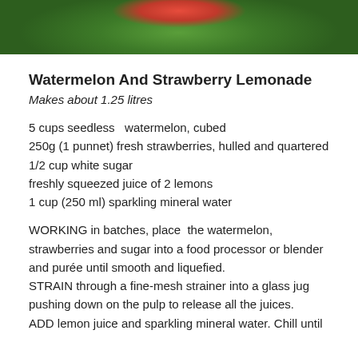[Figure (photo): Photo of watermelon and strawberry lemonade drink in a pink/red bowl or glass, surrounded by green leaves]
Watermelon And Strawberry Lemonade
Makes about 1.25 litres
5 cups seedless  watermelon, cubed
250g (1 punnet) fresh strawberries, hulled and quartered
1/2 cup white sugar
freshly squeezed juice of 2 lemons
1 cup (250 ml) sparkling mineral water
WORKING in batches, place  the watermelon, strawberries and sugar into a food processor or blender and purée until smooth and liquefied. STRAIN through a fine-mesh strainer into a glass jug pushing down on the pulp to release all the juices. ADD lemon juice and sparkling mineral water. Chill until